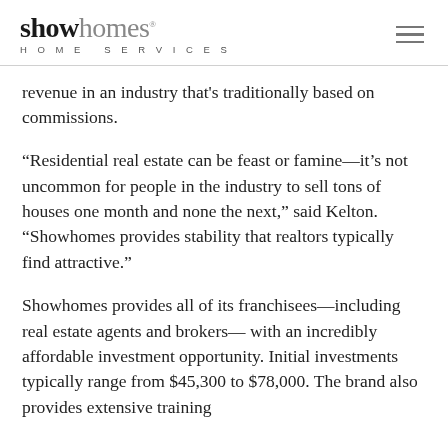showhomes HOME SERVICES
revenue in an industry that's traditionally based on commissions.
“Residential real estate can be feast or famine—it’s not uncommon for people in the industry to sell tons of houses one month and none the next,” said Kelton. “Showhomes provides stability that realtors typically find attractive.”
Showhomes provides all of its franchisees—including real estate agents and brokers— with an incredibly affordable investment opportunity. Initial investments typically range from $45,300 to $78,000. The brand also provides extensive training